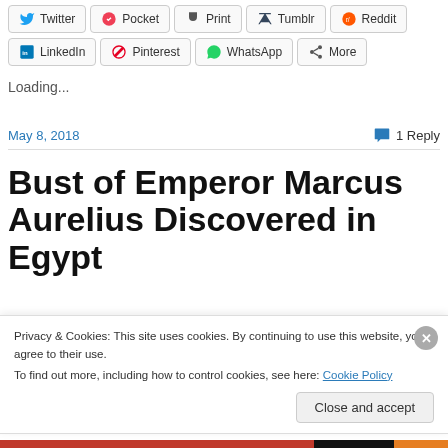Twitter
Pocket
Print
Tumblr
Reddit
LinkedIn
Pinterest
WhatsApp
More
Loading...
May 8, 2018
1 Reply
Bust of Emperor Marcus Aurelius Discovered in Egypt
Privacy & Cookies: This site uses cookies. By continuing to use this website, you agree to their use.
To find out more, including how to control cookies, see here: Cookie Policy
Close and accept